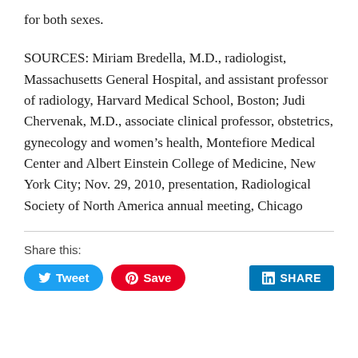for both sexes.
SOURCES: Miriam Bredella, M.D., radiologist, Massachusetts General Hospital, and assistant professor of radiology, Harvard Medical School, Boston; Judi Chervenak, M.D., associate clinical professor, obstetrics, gynecology and women’s health, Montefiore Medical Center and Albert Einstein College of Medicine, New York City; Nov. 29, 2010, presentation, Radiological Society of North America annual meeting, Chicago
Share this: